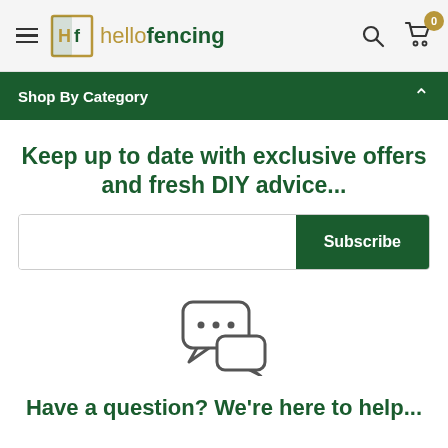hellofencing
Shop By Category
Keep up to date with exclusive offers and fresh DIY advice...
Subscribe
[Figure (illustration): Chat bubble icon with three dots and a second smaller chat bubble]
Have a question? We're here to help...